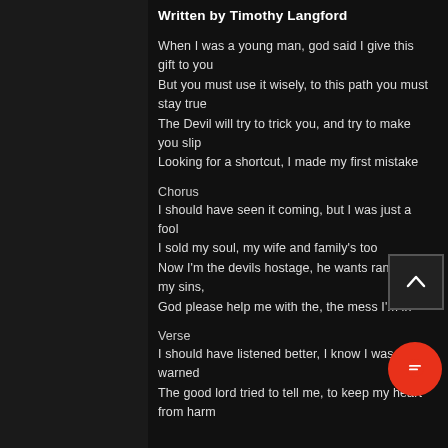Written by Timothy Langford
When I was a young man, god said I give this gift to you
But you must use it wisely, to this path you must stay true
The Devil will try to trick you, and try to make you slip
Looking for a shortcut, I made my first mistake
Chorus
I should have seen it coming, but I was just a fool
I sold my soul, my wife and family's too
Now I'm the devils hostage, he wants ransom for my sins,
God please help me with the, the mess I'm in
Verse
I should have listened better, I know I was warned
The good lord tried to tell me, to keep my heart from harm